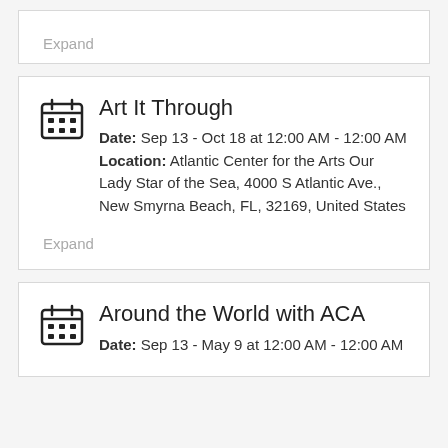Expand
Art It Through
Date: Sep 13 - Oct 18 at 12:00 AM - 12:00 AM
Location: Atlantic Center for the Arts Our Lady Star of the Sea, 4000 S Atlantic Ave., New Smyrna Beach, FL, 32169, United States
Expand
Around the World with ACA
Date: Sep 13 - May 9 at 12:00 AM - 12:00 AM